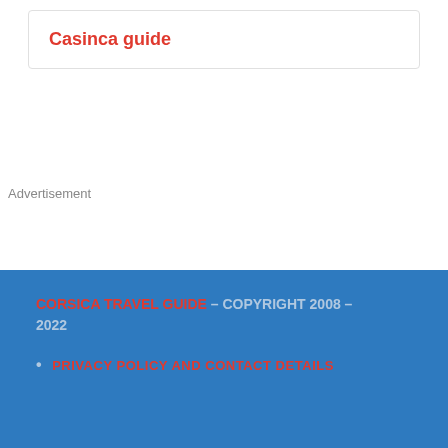Casinca guide
Advertisement
CORSICA TRAVEL GUIDE – COPYRIGHT 2008 – 2022
PRIVACY POLICY AND CONTACT DETAILS